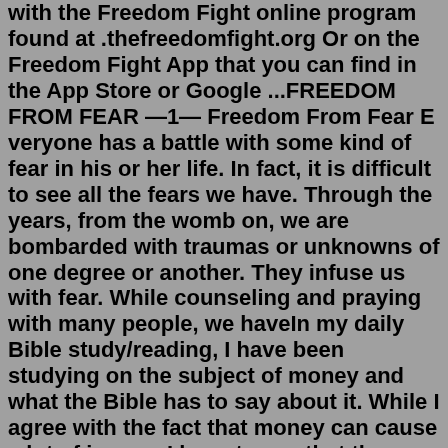with the Freedom Fight online program found at .thefreedomfight.org Or on the Freedom Fight App that you can find in the App Store or Google ...FREEDOM FROM FEAR —1— Freedom From Fear E veryone has a battle with some kind of fear in his or her life. In fact, it is difficult to see all the fears we have. Through the years, from the womb on, we are bombarded with traumas or unknowns of one degree or another. They infuse us with fear. While counseling and praying with many people, we haveIn my daily Bible study/reading, I have been studying on the subject of money and what the Bible has to say about it. While I agree with the fact that money can cause a lot of issues, I have to say that the green paper bill itself is not the reason for problems. If you take a closer look at 1 Timothy 6:10, you...Biblical and Theological Studies. Doctrinal Studies - Correspondence Course How To Enroll in a Correspondence Bible Study Course Covering Basic The Eternal Sonship of Christ, John MacArthur and the IFCA The MacArthur Study Bible and The